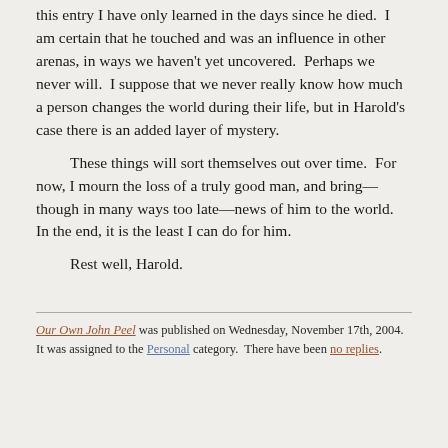this entry I have only learned in the days since he died.  I am certain that he touched and was an influence in other arenas, in ways we haven't yet uncovered.  Perhaps we never will.  I suppose that we never really know how much a person changes the world during their life, but in Harold's case there is an added layer of mystery.
These things will sort themselves out over time.  For now, I mourn the loss of a truly good man, and bring—though in many ways too late—news of him to the world.  In the end, it is the least I can do for him.
Rest well, Harold.
Our Own John Peel was published on Wednesday, November 17th, 2004.  It was assigned to the Personal category.  There have been no replies.